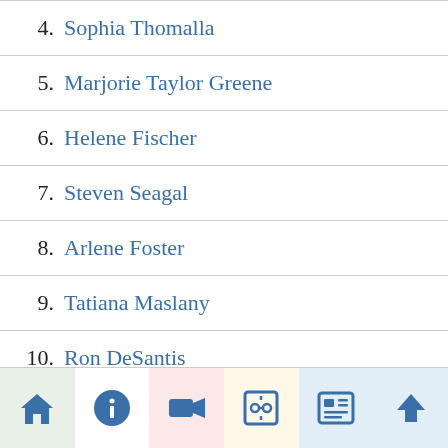4. Sophia Thomalla
5. Marjorie Taylor Greene
6. Helene Fischer
7. Steven Seagal
8. Arlene Foster
9. Tatiana Maslany
10. Ron DeSantis
[Figure (infographic): Bottom navigation toolbar with 6 icon buttons: home, info, video camera, text/font, newspaper/grid, upload arrow]